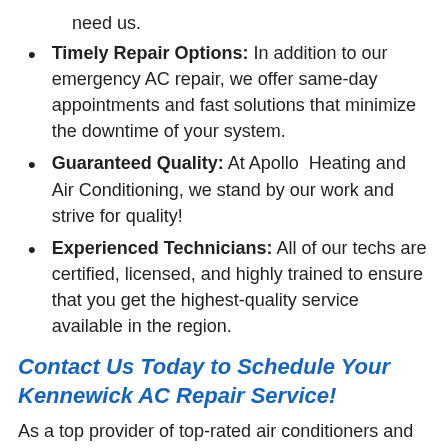need us.
Timely Repair Options: In addition to our emergency AC repair, we offer same-day appointments and fast solutions that minimize the downtime of your system.
Guaranteed Quality: At Apollo Heating and Air Conditioning, we stand by our work and strive for quality!
Experienced Technicians: All of our techs are certified, licensed, and highly trained to ensure that you get the highest-quality service available in the region.
Contact Us Today to Schedule Your Kennewick AC Repair Service!
As a top provider of top-rated air conditioners and professional service, Apollo Heating and Air Conditioning is here to ensure that you have the